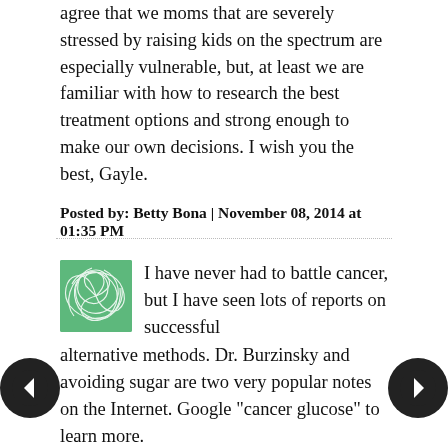agree that we moms that are severely stressed by raising kids on the spectrum are especially vulnerable, but, at least we are familiar with how to research the best treatment options and strong enough to make our own decisions. I wish you the best, Gayle.
Posted by: Betty Bona | November 08, 2014 at 01:35 PM
I have never had to battle cancer, but I have seen lots of reports on successful alternative methods. Dr. Burzinsky and avoiding sugar are two very popular notes on the Internet. Google "cancer glucose" to learn more.